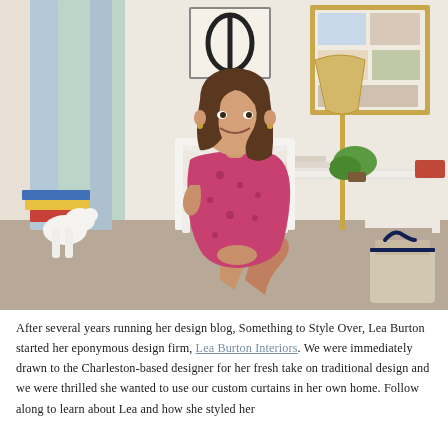[Figure (photo): A young woman with long brown hair sits smiling in a white rattan chair beside a white desk. She wears a pink floral dress. Behind her are grey curtains, a framed abstract print, a gold-framed mood board, a brass floor lamp with a woven shade, and green plants on the desk. Books and bags are visible in the foreground.]
After several years running her design blog, Something to Style Over, Lea Burton started her eponymous design firm, Lea Burton Interiors. We were immediately drawn to the Charleston-based designer for her fresh take on traditional design and we were thrilled she wanted to use our custom curtains in her own home. Follow along to learn about Lea and how she styled her